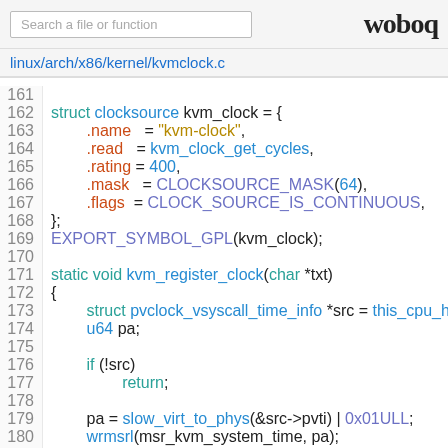Search a file or function | woboq
linux/arch/x86/kernel/kvmclock.c
[Figure (screenshot): Source code listing of linux/arch/x86/kernel/kvmclock.c, lines 161-186, showing struct clocksource kvm_clock initialization, EXPORT_SYMBOL_GPL, kvm_register_clock, and kvm_save_sched_clock_state functions with syntax highlighting.]